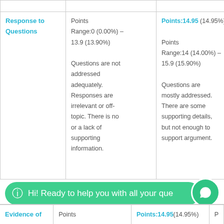| Criteria | Points Range (Low) | Points Range (Mid) | ... |
| --- | --- | --- | --- |
| Response to Questions | Points Range:0 (0.00%) – 13.9 (13.90%) Questions are not addressed adequately. Responses are irrelevant or off-topic. There is no or a lack of supporting information. | Points:14.95 (14.95%) Points Range:14 (14.00%) – 15.9 (15.90%) Questions are mostly addressed. There are some supporting details, but not enough to support argument. | ... |
| Evidence of | Points | Points:14.95 (14.95%) | ... |
Hi! Ready to help you with all your que...